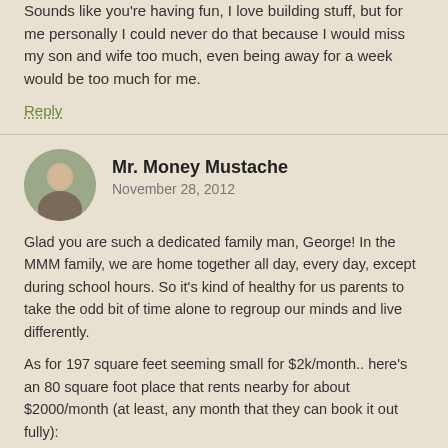Sounds like you're having fun, I love building stuff, but for me personally I could never do that because I would miss my son and wife too much, even being away for a week would be too much for me.
Reply
Mr. Money Mustache
November 28, 2012
Glad you are such a dedicated family man, George! In the MMM family, we are home together all day, every day, except during school hours. So it's kind of healthy for us parents to take the odd bit of time alone to regroup our minds and live differently.
As for 197 square feet seeming small for $2k/month.. here's an 80 square foot place that rents nearby for about $2000/month (at least, any month that they can book it out fully): https://www.airbnb.com/rooms/591375
Remember that even a crappy hotel along an interstate in Kansas is still often $100/night ($3000/month). The place we're building here is MUCH nicer than a hotel, and that's before factoring in where it is located (about 1/3 mile from the